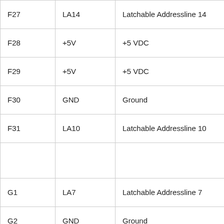| F27 | LA14 | Latchable Addressline 14 |
| F28 | +5V | +5 VDC |
| F29 | +5V | +5 VDC |
| F30 | GND | Ground |
| F31 | LA10 | Latchable Addressline 10 |
|  |  |  |
| G1 | LA7 | Latchable Addressline 7 |
| G2 | GND | Ground |
| G3 | LA4 | Latchable Addressline 4 |
| G4 | LA3 | Latchable Addressline 3 |
| G5 | GND | Ground |
| G6 | KEY | Access Key |